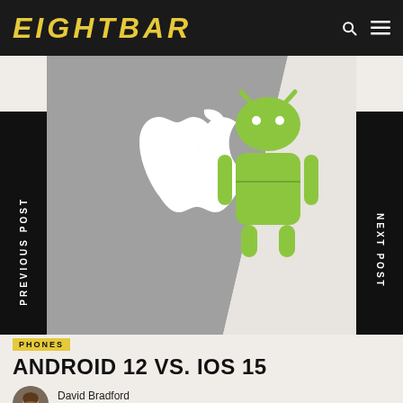EIGHTBAR
[Figure (illustration): Hero image showing Apple logo on gray background (left) and Android robot logo on white background (right), split diagonally. Left sidebar reads PREVIOUS POST, right sidebar reads NEXT POST.]
PHONES
ANDROID 12 VS. IOS 15
David Bradford
September 20, 2021
SHARE